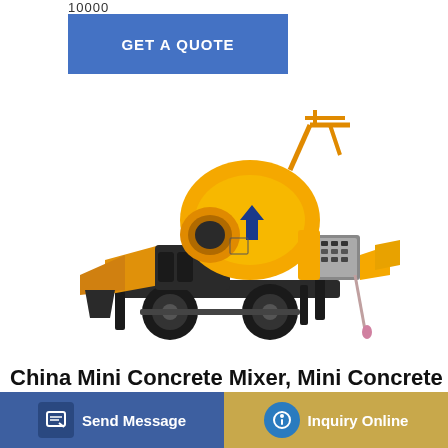10000
GET A QUOTE
[Figure (photo): Yellow mini concrete mixer with pump on a wheeled trailer frame, featuring a rotating drum, control panel, hopper, and black rubber tires. Industrial yellow color with blue arrow marking on drum.]
China Mini Concrete Mixer, Mini Concrete Mixer
3.5cbm China Factory Wholesale Price High Efficiency Heavy Duty Mini Se... g Funct... d Pieces Min Order: 1 Piece After-sales Service: All...
Send Message
Inquiry Online